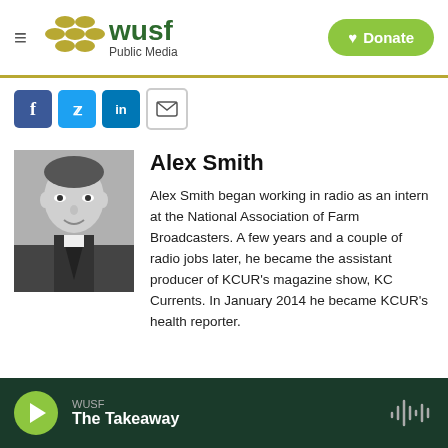WUSF Public Media
[Figure (logo): WUSF Public Media logo with circular dots and green text]
[Figure (other): Social share icons: Facebook, Twitter, LinkedIn, Email]
Alex Smith
[Figure (photo): Black and white headshot photo of Alex Smith]
Alex Smith began working in radio as an intern at the National Association of Farm Broadcasters. A few years and a couple of radio jobs later, he became the assistant producer of KCUR's magazine show, KC Currents. In January 2014 he became KCUR's health reporter.
WUSF The Takeaway